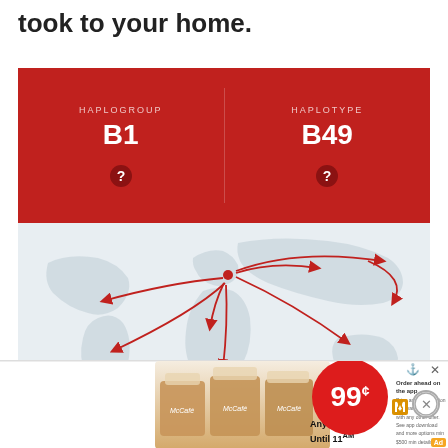took to your home.
[Figure (infographic): Red panel showing haplogroup B1 and haplotype B49 with question mark icons on dark red background]
[Figure (map): World map on light blue-gray background with red curved arrows showing migration routes radiating from Europe/Middle East area to various parts of the world]
[Figure (photo): McDonald's McCafe advertisement showing three iced coffees, 99 cent promotion any size until 11AM, with Order ahead on the app option]